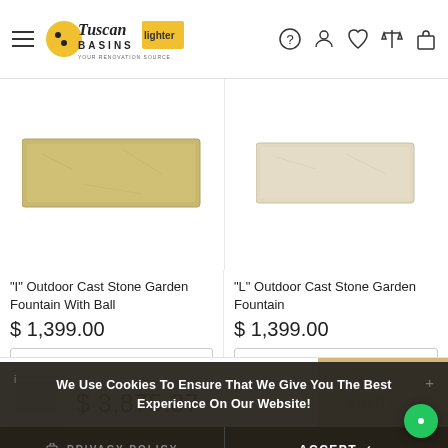[Figure (screenshot): Tuscan Basins e-commerce website screenshot showing product listings, navigation header with logo and icons, product images for cast stone garden fountains, prices, dropdowns, a cookie consent banner, and a bottom bar with price and sold out button.]
"I" Outdoor Cast Stone Garden Fountain With Ball
$ 1,399.00
Natural (N)
"L" Outdoor Cast Stone Garden Fountain
$ 1,399.00
Natural (N)
We Use Cookies To Ensure That We Give You The Best Experience On Our Website!
PRIVACY POLICY
ACCEPT ✓
$ 3,875.87
SOLD OUT